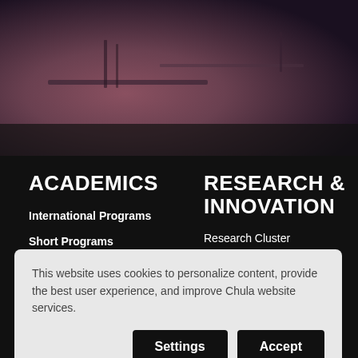[Figure (photo): Hero image with blurred dark reddish-purple background, appears to show a person or objects in a dimly lit setting]
ACADEMICS
International Programs
Short Programs
Undergraduate Admissions
RESEARCH & INNOVATION
Research Cluster
Implemented Research
Chulanedia
This website uses cookies to personalize content, provide the best user experience, and improve Chula website services.
Settings
Accept